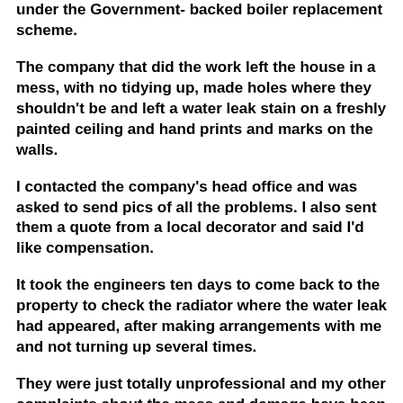under the Government- backed boiler replacement scheme.
The company that did the work left the house in a mess, with no tidying up, made holes where they shouldn't be and left a water leak stain on a freshly painted ceiling and hand prints and marks on the walls.
I contacted the company's head office and was asked to send pics of all the problems. I also sent them a quote from a local decorator and said I'd like compensation.
It took the engineers ten days to come back to the property to check the radiator where the water leak had appeared, after making arrangements with me and not turning up several times.
They were just totally unprofessional and my other complaints about the mess and damage have been